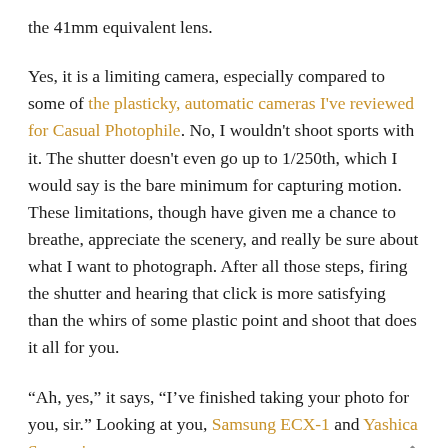the 41mm equivalent lens.
Yes, it is a limiting camera, especially compared to some of the plasticky, automatic cameras I've reviewed for Casual Photophile. No, I wouldn't shoot sports with it. The shutter doesn't even go up to 1/250th, which I would say is the bare minimum for capturing motion. These limitations, though have given me a chance to breathe, appreciate the scenery, and really be sure about what I want to photograph. After all those steps, firing the shutter and hearing that click is more satisfying than the whirs of some plastic point and shoot that does it all for you.
“Ah, yes,” it says, “I’ve finished taking your photo for you, sir.” Looking at you, Samsung ECX-1 and Yashica Samurai.